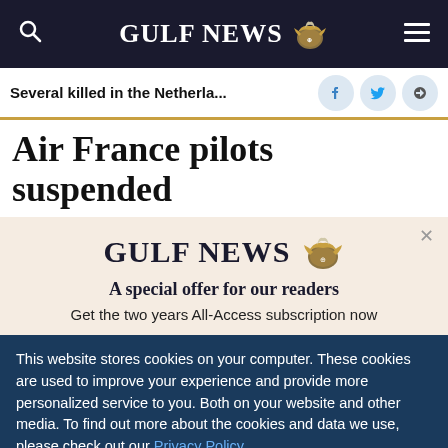GULF NEWS
Several killed in the Netherla...
Air France pilots suspended
[Figure (logo): Gulf News logo with eagle emblem and text 'A special offer for our readers'. Get the two years All-Access subscription now]
This website stores cookies on your computer. These cookies are used to improve your experience and provide more personalized service to you. Both on your website and other media. To find out more about the cookies and data we use, please check out our Privacy Policy.